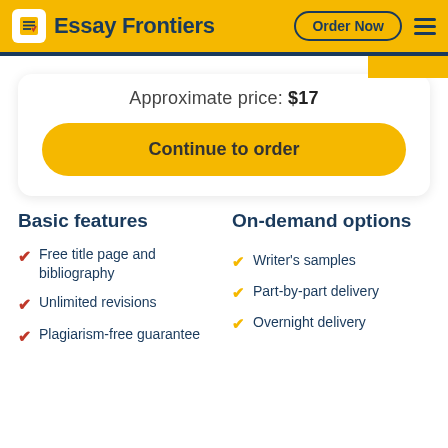Essay Frontiers  Order Now
Approximate price: $17
Continue to order
Basic features
On-demand options
Free title page and bibliography
Unlimited revisions
Plagiarism-free guarantee
Writer's samples
Part-by-part delivery
Overnight delivery